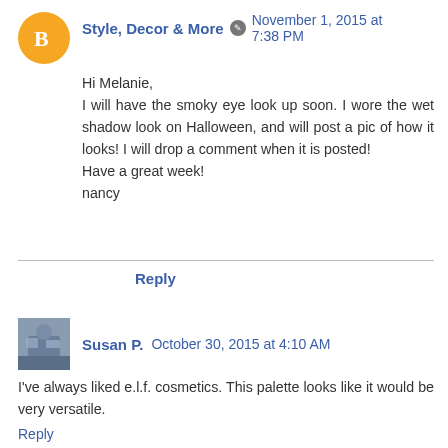Style, Decor & More ✎  November 1, 2015 at 7:38 PM
Hi Melanie,
I will have the smoky eye look up soon. I wore the wet shadow look on Halloween, and will post a pic of how it looks! I will drop a comment when it is posted!
Have a great week!
nancy
Reply
Susan P.  October 30, 2015 at 4:10 AM
I've always liked e.l.f. cosmetics. This palette looks like it would be very versatile.
Reply
▾ Replies